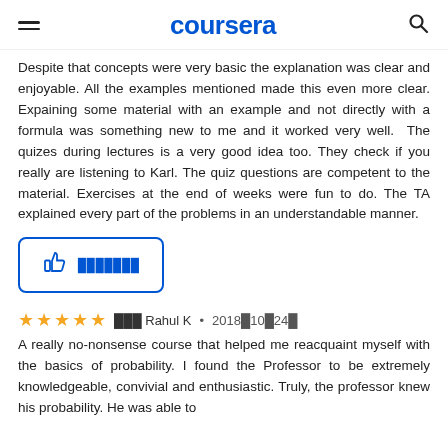coursera
Despite that concepts were very basic the explanation was clear and enjoyable. All the examples mentioned made this even more clear. Expaining some material with an example and not directly with a formula was something new to me and it worked very well.  The quizes during lectures is a very good idea too. They check if you really are listening to Karl. The quiz questions are competent to the material. Exercises at the end of weeks were fun to do. The TA explained every part of the problems in an understandable manner.
[Figure (other): Thumbs up icon with blue outlined box and garbled text]
A really no-nonsense course that helped me reacquaint myself with the basics of probability. I found the Professor to be extremely knowledgeable, convivial and enthusiastic. Truly, the professor knew his probability. He was able to
Rahul K • 2018年10月24日